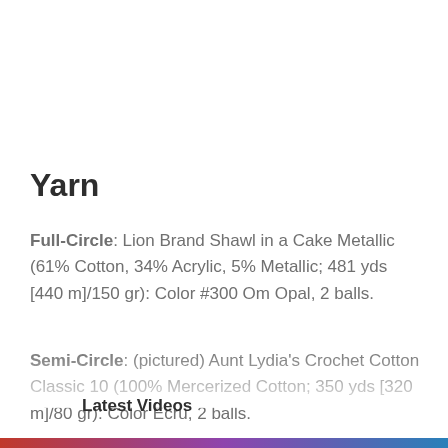Yarn
Full-Circle: Lion Brand Shawl in a Cake Metallic (61% Cotton, 34% Acrylic, 5% Metallic; 481 yds [440 m]/150 gr): Color #300 Om Opal, 2 balls.
Semi-Circle: (pictured) Aunt Lydia's Crochet Cotton Classic 10 (100% Mercerized Cotton; 350 yds [320 m]/80 gr): Color Ecru, 2 balls.
Latest Videos